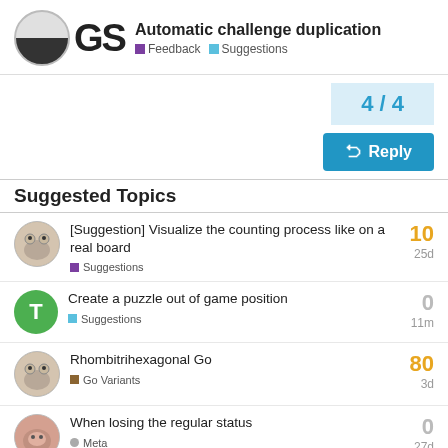GS Automatic challenge duplication — Feedback • Suggestions
4 / 4
Reply
Suggested Topics
[Suggestion] Visualize the counting process like on a real board — Suggestions — 25d — 10
Create a puzzle out of game position — Suggestions — 11m — 0
Rhombitrihexagonal Go — Go Variants — 3d — 80
When losing the regular status — Meta — 27d — 0